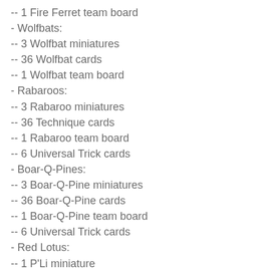-- 1 Fire Ferret team board
- Wolfbats:
-- 3 Wolfbat miniatures
-- 36 Wolfbat cards
-- 1 Wolfbat team board
- Rabaroos:
-- 3 Rabaroo miniatures
-- 36 Technique cards
-- 1 Rabaroo team board
-- 6 Universal Trick cards
- Boar-Q-Pines:
-- 3 Boar-Q-Pine miniatures
-- 36 Boar-Q-Pine cards
-- 1 Boar-Q-Pine team board
-- 6 Universal Trick cards
- Red Lotus:
-- 1 P'Li miniature
-- A “stack” of P'Li cards
-- 1 P'Li team board
-- 3 P'Li Trick cards
- 6 Daze tokens
- 12 Hold tokens